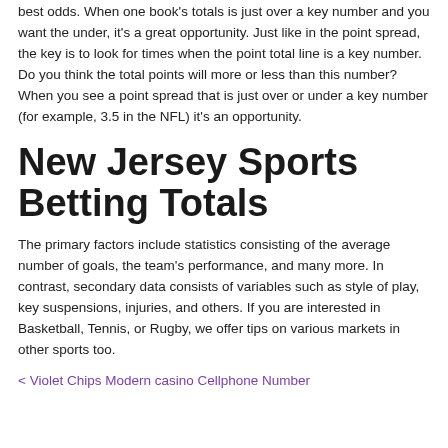best odds. When one book's totals is just over a key number and you want the under, it's a great opportunity. Just like in the point spread, the key is to look for times when the point total line is a key number. Do you think the total points will more or less than this number? When you see a point spread that is just over or under a key number (for example, 3.5 in the NFL) it's an opportunity.
New Jersey Sports Betting Totals
The primary factors include statistics consisting of the average number of goals, the team's performance, and many more. In contrast, secondary data consists of variables such as style of play, key suspensions, injuries, and others. If you are interested in Basketball, Tennis, or Rugby, we offer tips on various markets in other sports too.
< Violet Chips Modern casino Cellphone Number